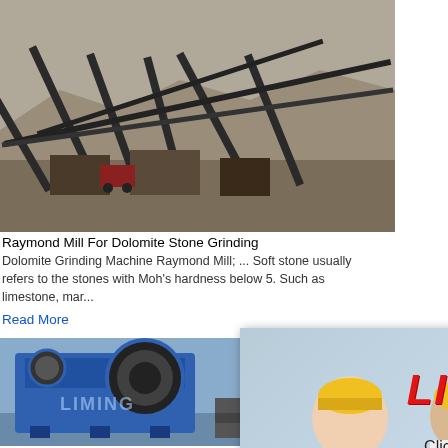[Figure (photo): Mining/quarry machinery with conveyors and equipment in desert landscape]
Raymond Mill For Dolomite Stone Grinding
Dolomite Grinding Machine Raymond Mill; ... Soft stone usually refers to the stones with Moh's hardness below 5. Such as limestone, mar...
Read More
[Figure (photo): Blue jaw crusher machine in factory setting with LIMING watermark]
Raymond Mill Crushers For Dolomite -
Raymond Mill Used For Grinding Dolomite ... the dolomite powder grinding plant, raymond... of as stone pulverizer to crush, grind ...
[Figure (screenshot): Live chat popup overlay with workers in hard hats, LIVE CHAT text in red italic, Chat now and Chat later buttons]
[Figure (screenshot): Right sidebar showing cone crusher machine, Click me to chat button, Enquiry section, and limingjlmofen brand text]